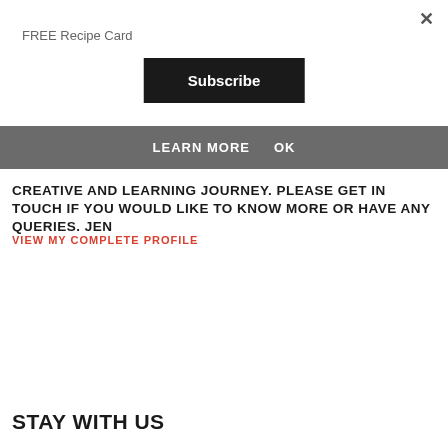×
FREE Recipe Card
Subscribe
LEARN MORE    OK
CREATIVE AND LEARNING JOURNEY. PLEASE GET IN TOUCH IF YOU WOULD LIKE TO KNOW MORE OR HAVE ANY QUERIES. JEN
VIEW MY COMPLETE PROFILE
STAY WITH US